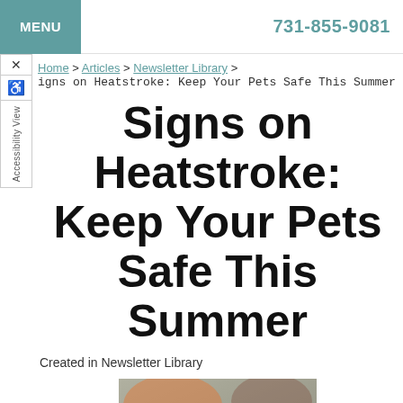MENU | 731-855-9081
Home > Articles > Newsletter Library >
igns on Heatstroke: Keep Your Pets Safe This Summer
Signs on Heatstroke: Keep Your Pets Safe This Summer
Created in Newsletter Library
[Figure (photo): A golden/yellow dog photographed from behind, sitting outdoors on what appears to be a paved surface, with a blurred background.]